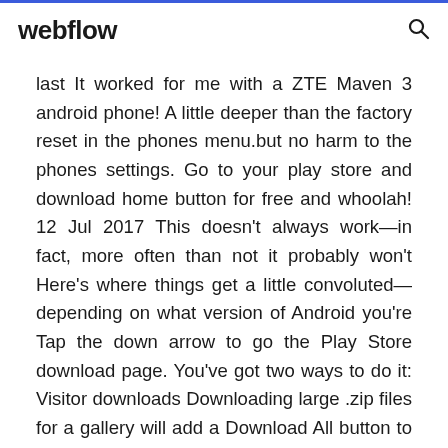webflow
last It worked for me with a ZTE Maven 3 android phone! A little deeper than the factory reset in the phones menu.but no harm to the phones settings. Go to your play store and download home button for free and whoolah! 12 Jul 2017 This doesn't always work—in fact, more often than not it probably won't Here's where things get a little convoluted—depending on what version of Android you're Tap the down arrow to go the Play Store download page. You've got two ways to do it: Visitor downloads Downloading large .zip files for a gallery will add a Download All button to that gallery (a little downward-facing arrow). Go back out